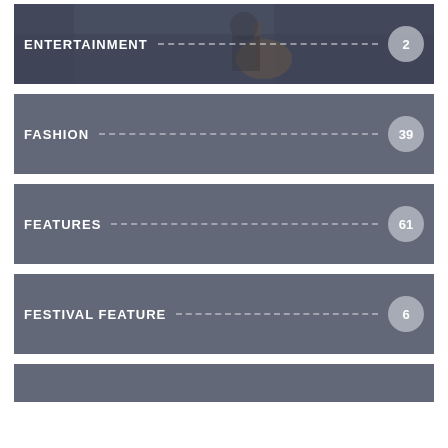[Figure (photo): Musician playing guitar, dark overlay background. Shows ENTERTAINMENT label with dashed line and page number 2.]
ENTERTAINMENT 2
FASHION 39
FEATURES 61
FESTIVAL FEATURE 6